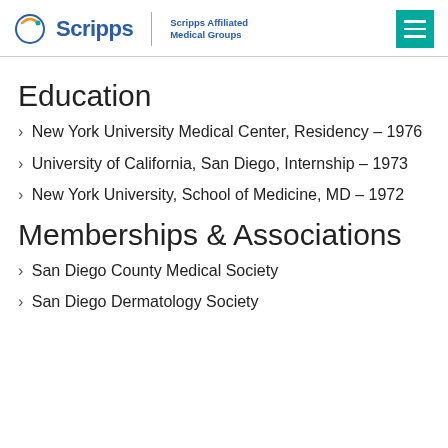Scripps | Scripps Affiliated Medical Groups
Education
New York University Medical Center, Residency – 1976
University of California, San Diego, Internship – 1973
New York University, School of Medicine, MD – 1972
Memberships & Associations
San Diego County Medical Society
San Diego Dermatology Society